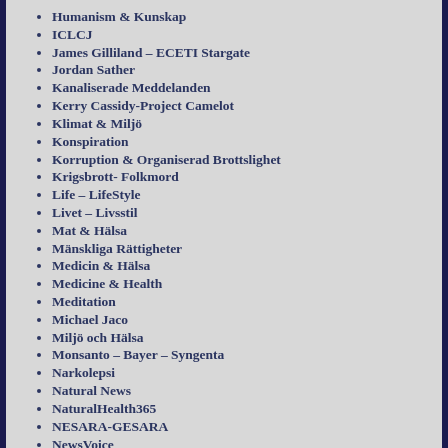Humanism & Kunskap
ICLCJ
James Gilliland – ECETI Stargate
Jordan Sather
Kanaliserade Meddelanden
Kerry Cassidy-Project Camelot
Klimat & Miljö
Konspiration
Korruption & Organiserad Brottslighet
Krigsbrott- Folkmord
Life – LifeStyle
Livet – Livsstil
Mat & Hälsa
Mänskliga Rättigheter
Medicin & Hälsa
Medicine & Health
Meditation
Michael Jaco
Miljö och Hälsa
Monsanto – Bayer – Syngenta
Narkolepsi
Natural News
NaturalHealth365
NESARA-GESARA
NewsVoice